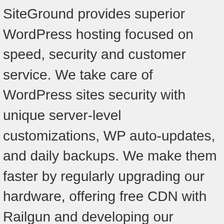SiteGround provides superior WordPress hosting focused on speed, security and customer service. We take care of WordPress sites security with unique server-level customizations, WP auto-updates, and daily backups. We make them faster by regularly upgrading our hardware, offering free CDN with Railgun and developing our SuperCacher that speeds sites up to 100 times! And last but not least, we provide real WordPress help 24/7! Learn more about SiteGround WordPress hosting
WordPress tutorial and knowledgebase articles
WordPress is considered an easy to work with